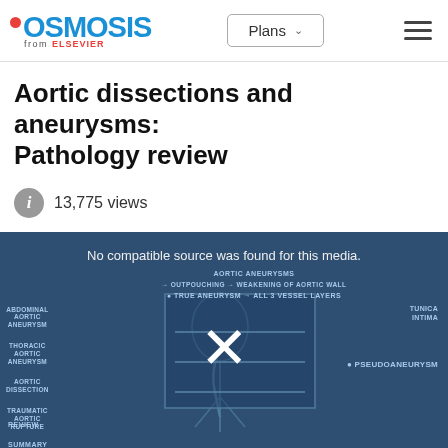Osmosis from Elsevier | Plans | Menu
Aortic dissections and aneurysms: Pathology review
13,775 views
[Figure (screenshot): Osmosis medical education video thumbnail showing anatomical diagram of aortic aneurysm types with labels: Abdominal Aortic Aneurysm, Thoracic Aortic Aneurysm, Aortic Dissection, Traumatic Aortic Rupture, Review, Summary. Diagram text includes: True Aneurysm → All 3 Vessel Layers, Outpouching → Weakening of Aortic Wall, Tunica Intima, Pseudoaneurysm. A large X mark overlays the center with the message 'No compatible source was found for this media.']